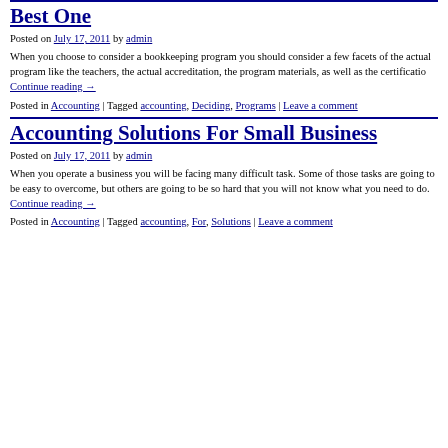Best One
Posted on July 17, 2011 by admin
When you choose to consider a bookkeeping program you should consider a few facets of the actual program like the teachers, the actual accreditation, the program materials, as well as the certificatio Continue reading →
Posted in Accounting | Tagged accounting, Deciding, Programs | Leave a comment
Accounting Solutions For Small Business
Posted on July 17, 2011 by admin
When you operate a business you will be facing many difficult task. Some of those tasks are going to be easy to overcome, but others are going to be so hard that you will not know what you need to do. Continue reading →
Posted in Accounting | Tagged accounting, For, Solutions | Leave a comment